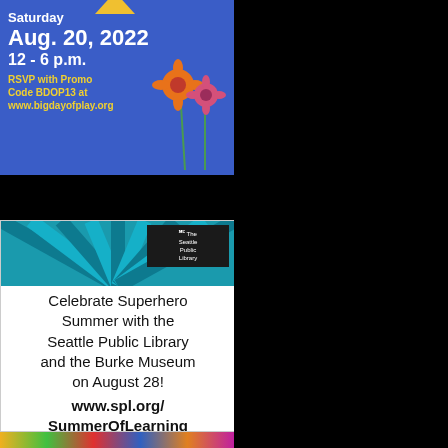[Figure (infographic): Blue background advertisement for Big Day of Play on Saturday Aug. 20, 2022, 12-6 p.m. with flower illustrations and RSVP info with Promo Code BDOP13 at www.bigdayofplay.org]
[Figure (infographic): Seattle Public Library Superhero Summer ad with teal sunburst pattern, logo, and text inviting people to celebrate Superhero Summer with the Seattle Public Library and the Burke Museum on August 28. Website: www.spl.org/SummerOfLearning]
[Figure (illustration): Partial view of a colorful illustration at the bottom of the page, showing bright cartoon-like figures on a black background]